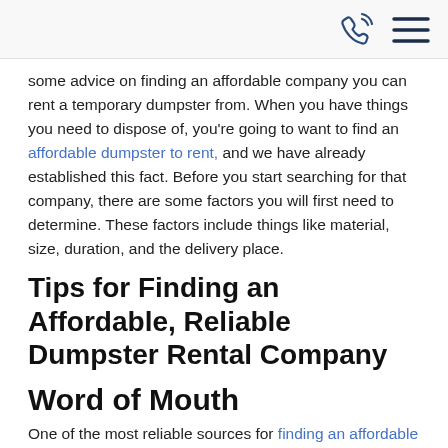[phone icon] [menu icon]
some advice on finding an affordable company you can rent a temporary dumpster from. When you have things you need to dispose of, you're going to want to find an affordable dumpster to rent, and we have already established this fact. Before you start searching for that company, there are some factors you will first need to determine. These factors include things like material, size, duration, and the delivery place.
Tips for Finding an Affordable, Reliable Dumpster Rental Company
Word of Mouth
One of the most reliable sources for finding an affordable dumpster rental would be word of mouth. Speak with individuals who have used a temporary